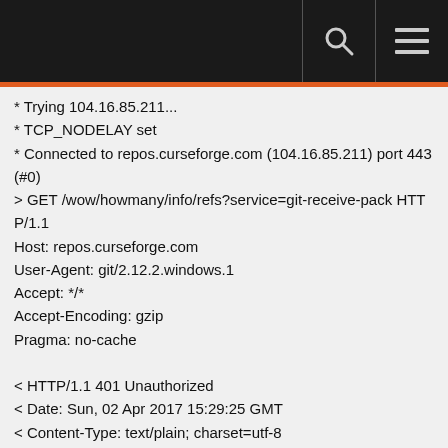* Trying 104.16.85.211...
* TCP_NODELAY set
* Connected to repos.curseforge.com (104.16.85.211) port 443 (#0)
> GET /wow/howmany/info/refs?service=git-receive-pack HTTP/1.1
Host: repos.curseforge.com
User-Agent: git/2.12.2.windows.1
Accept: */*
Accept-Encoding: gzip
Pragma: no-cache

< HTTP/1.1 401 Unauthorized
< Date: Sun, 02 Apr 2017 15:29:25 GMT
< Content-Type: text/plain; charset=utf-8
< Content-Length: 24
< Connection: keep-alive
< Set-Cookie:
__cfduid=d34196ecce6ff186f7c818ecf7115d8ce1491146965;